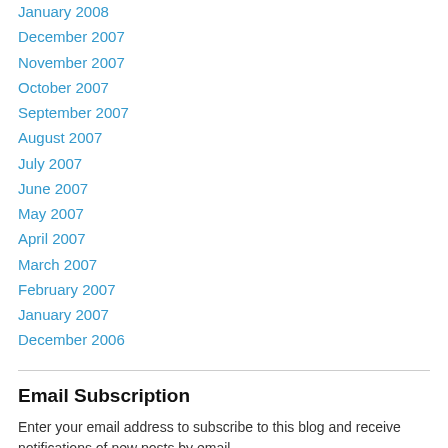January 2008
December 2007
November 2007
October 2007
September 2007
August 2007
July 2007
June 2007
May 2007
April 2007
March 2007
February 2007
January 2007
December 2006
Email Subscription
Enter your email address to subscribe to this blog and receive notifications of new posts by email.